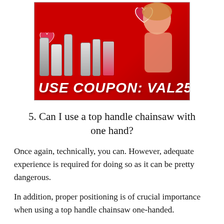[Figure (illustration): Advertisement banner with red background showing skincare products (bottles and tubes), a woman touching her face, hearts, and bold text reading USE COUPON: VAL25]
5. Can I use a top handle chainsaw with one hand?
Once again, technically, you can. However, adequate experience is required for doing so as it can be pretty dangerous.
In addition, proper positioning is of crucial importance when using a top handle chainsaw one-handed.